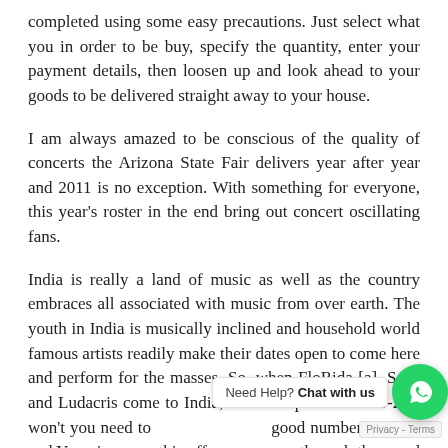completed using some easy precautions. Just select what you in order to be buy, specify the quantity, enter your payment details, then loosen up and look ahead to your goods to be delivered straight away to your house.
I am always amazed to be conscious of the quality of concerts the Arizona State Fair delivers year after year and 2011 is no exception. With something for everyone, this year's roster in the end bring out concert oscillating fans.
India is really a land of music as well as the country embraces all associated with music from over earth. The youth in India is musically inclined and household world famous artists readily make their dates open to come here and perform for the masses. So, when FloRida [a], Sean and Ludacris come to India, for Champion's one 20-20 ; won't you need to [get] good numbers? Deals and You gives you this offer through them and obtain the concert ticket absolutely